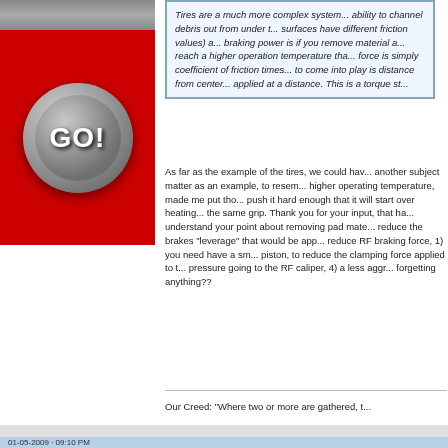[Figure (illustration): Red banner with silver GO! button/badge in center]
Tires are a much more complex system... ability to channel debris out from under t... surfaces have different friction values) a... braking power is if you remove material a... reach a higher operation temperature tha... force is simply coefficient of friction times... to come into play is distance from center... applied at a distance. This is a torque st...
As far as the example of the tires, we could hav... another subject matter as an example, to resem... higher operating temperature, made me put tho... push it hard enough that it will start over heating... the same grip. Thank you for your input, that ha... understand your point about removing pad mate... reduce the brakes "leverage" that would be app... reduce RF braking force, 1) you need have a sm... piston, to reduce the clamping force applied to t... pressure going to the RF caliper, 4) a less aggr... forgetting anything??
Our Creed: "Where two or more are gathered, t...